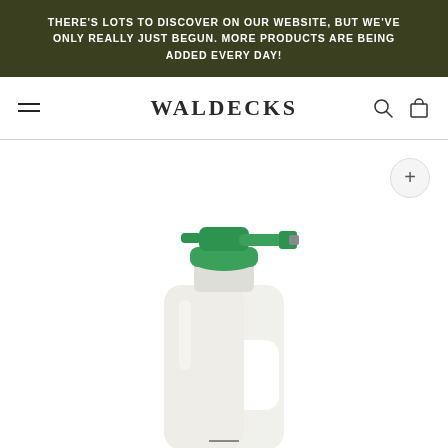THERE'S LOTS TO DISCOVER ON OUR WEBSITE, BUT WE'VE ONLY REALLY JUST BEGUN. MORE PRODUCTS ARE BEING ADDED EVERY DAY!
WALDECKS
[Figure (photo): A white plastic garden spray bottle/hose-end sprayer with green cap and nozzle connector attachment at the top, partially cropped at the bottom of the image.]